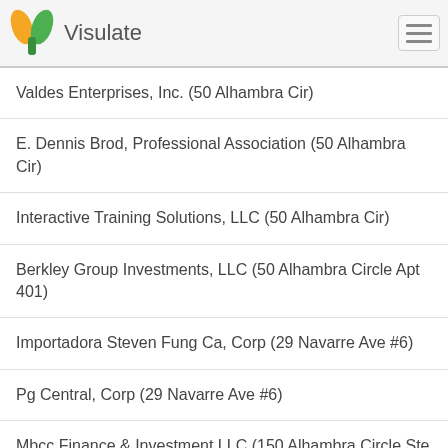Visulate
Valdes Enterprises, Inc. (50 Alhambra Cir)
E. Dennis Brod, Professional Association (50 Alhambra Cir)
Interactive Training Solutions, LLC (50 Alhambra Cir)
Berkley Group Investments, LLC (50 Alhambra Circle Apt 401)
Importadora Steven Fung Ca, Corp (29 Navarre Ave #6)
Pg Central, Corp (29 Navarre Ave #6)
Mbcc Finance & Investment LLC (150 Alhambra Circle Ste 1240)
Bay Harbor Finance & Investment, LLC (150 Alhambra Circle Ste 1240)
Halpernfarms LLC (150 Alhambra Circle Suite 1100)